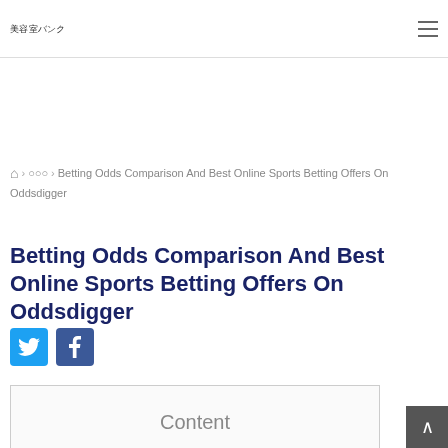美容室バンク
› ○○○ › Betting Odds Comparison And Best Online Sports Betting Offers On Oddsdigger
Betting Odds Comparison And Best Online Sports Betting Offers On Oddsdigger
[Figure (infographic): Twitter and Facebook social share buttons]
Content